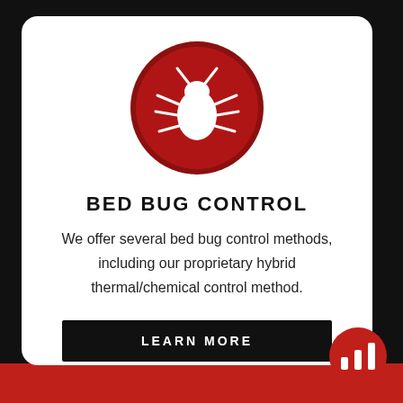[Figure (illustration): Red circle with white bed bug icon silhouette]
BED BUG CONTROL
We offer several bed bug control methods, including our proprietary hybrid thermal/chemical control method.
LEARN MORE
[Figure (logo): Red circle with white bar chart / signal bars logo icon]